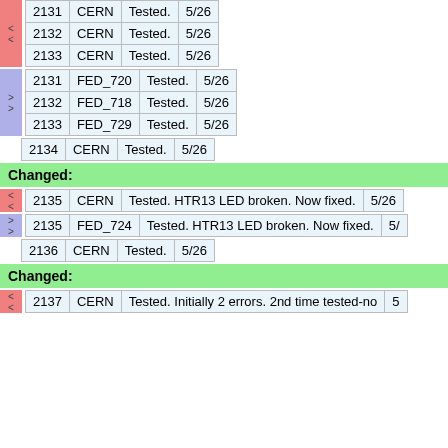| ID | Source | Status | Date |
| --- | --- | --- | --- |
| 2131 | CERN | Tested. | 5/26 |
| 2132 | CERN | Tested. | 5/26 |
| 2133 | CERN | Tested. | 5/26 |
| ID | Source | Status | Date |
| --- | --- | --- | --- |
| 2131 | FED_720 | Tested. | 5/26 |
| 2132 | FED_718 | Tested. | 5/26 |
| 2133 | FED_729 | Tested. | 5/26 |
| ID | Source | Status | Date |
| --- | --- | --- | --- |
| 2134 | CERN | Tested. | 5/26 |
Changed:
| ID | Source | Status | Date |
| --- | --- | --- | --- |
| 2135 | CERN | Tested. HTR13 LED broken. Now fixed. | 5/26 |
| ID | Source | Status | Date |
| --- | --- | --- | --- |
| 2135 | FED_724 | Tested. HTR13 LED broken. Now fixed. | 5/ |
| ID | Source | Status | Date |
| --- | --- | --- | --- |
| 2136 | CERN | Tested. | 5/26 |
Changed:
| ID | Source | Status | Date |
| --- | --- | --- | --- |
| 2137 | CERN | Tested. Initially 2 errors. 2nd time tested-no | 5 |